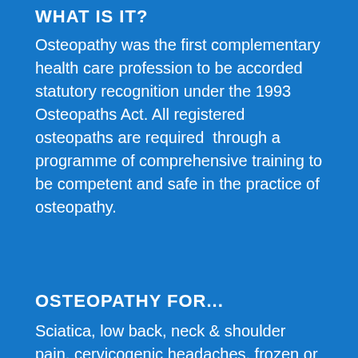WHAT IS IT?
Osteopathy was the first complementary health care profession to be accorded statutory recognition under the 1993 Osteopaths Act. All registered osteopaths are required through a programme of comprehensive training to be competent and safe in the practice of osteopathy.
OSTEOPATHY FOR...
Sciatica, low back, neck & shoulder pain, cervicogenic headaches, frozen or